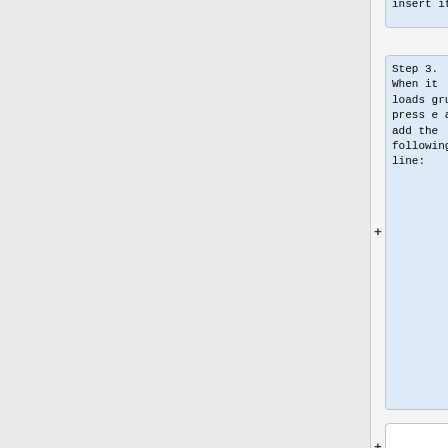insert it
Step 3. When it loads grub, press e and add the following line:
(empty diff block)
devicetree /boot/dtb/rockchip/rk3399-pinebook-pro.dtb
(empty diff block)
Press ctrl + x to boot
(empty diff block)
Work :